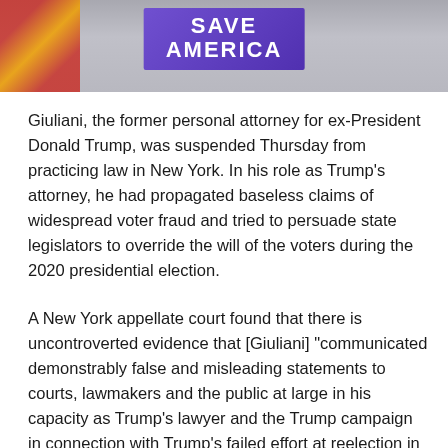[Figure (photo): Photo showing a 'SAVE AMERICA' purple banner in the background with a flag visible on the left side.]
Giuliani, the former personal attorney for ex-President Donald Trump, was suspended Thursday from practicing law in New York. In his role as Trump’s attorney, he had propagated baseless claims of widespread voter fraud and tried to persuade state legislators to override the will of the voters during the 2020 presidential election.
A New York appellate court found that there is uncontroverted evidence that [Giuliani] “communicated demonstrably false and misleading statements to courts, lawmakers and the public at large in his capacity as Trump’s lawyer and the Trump campaign in connection with Trump’s failed effort at reelection in 2020.”